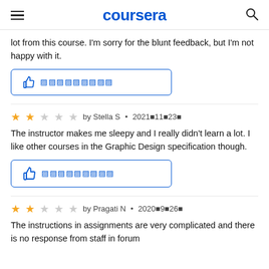coursera
lot from this course. I'm sorry for the blunt feedback, but I'm not happy with it.
[Figure (other): Helpful thumbs-up button with blue border and encoded text]
by Stella S • 2021年11月23日
The instructor makes me sleepy and I really didn't learn a lot. I like other courses in the Graphic Design specification though.
[Figure (other): Helpful thumbs-up button with blue border and encoded text]
by Pragati N • 2020年9月26日
The instructions in assignments are very complicated and there is no response from staff in forum